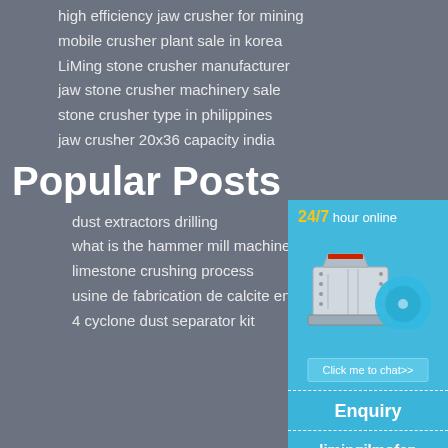high efficiency jaw crusher for mining
mobile crusher plant sale in korea
LiMing stone crusher manufacturer
jaw stone crusher machinery sale
stone crusher type in philippines
jaw crusher 20x36 capacity india
Popular Posts
dust extractors drilling
what is the hammer mill machine
limestone crushing process
usine de fabrication de calcite en in
4 cyclone dust separator kit
[Figure (infographic): 24/7 hour online chat widget with a jaw crusher machine image, a 'Click me to chat>>' button, an Enquiry section, and limingjlmofen text on blue background]